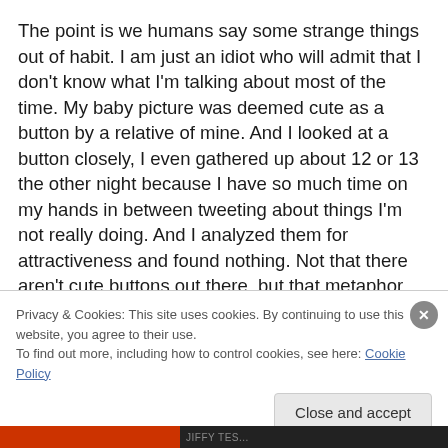The point is we humans say some strange things out of habit. I am just an idiot who will admit that I don't know what I'm talking about most of the time. My baby picture was deemed cute as a button by a relative of mine. And I looked at a button closely, I even gathered up about 12 or 13 the other night because I have so much time on my hands in between tweeting about things I'm not really doing. And I analyzed them for attractiveness and found nothing. Not that there aren't cute buttons out there, but that metaphor didn't leap out at me.
Privacy & Cookies: This site uses cookies. By continuing to use this website, you agree to their use.
To find out more, including how to control cookies, see here: Cookie Policy
Close and accept